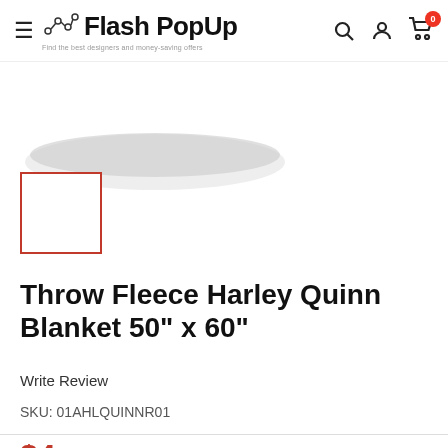Flash PopUp — navigation bar with hamburger menu, logo, search, account, and cart icons
[Figure (photo): Partial product image showing edge of Harley Quinn fleece blanket on white background]
[Figure (photo): Small thumbnail image box with red border (selected state), white/blank interior]
Throw Fleece Harley Quinn Blanket 50" x 60"
Write Review
SKU: 01AHLQUINNR01